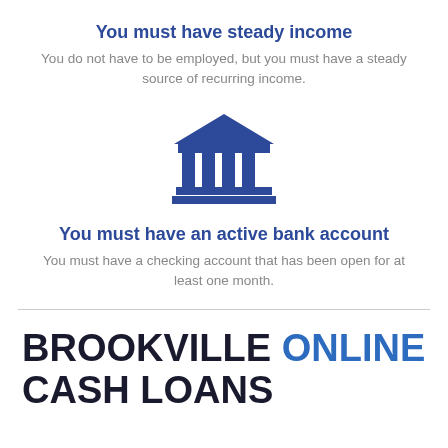You must have steady income
You do not have to be employed, but you must have a steady source of recurring income.
[Figure (illustration): Dark blue bank/institution icon with columns and pediment]
You must have an active bank account
You must have a checking account that has been open for at least one month.
BROOKVILLE ONLINE CASH LOANS